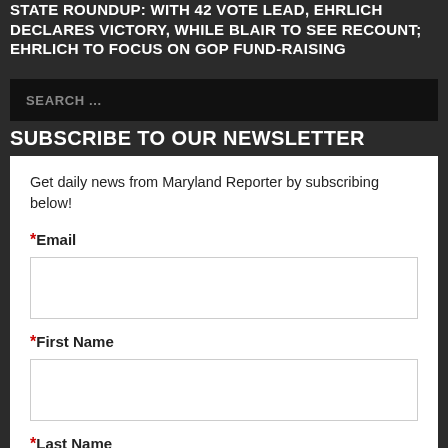STATE ROUNDUP: WITH 42 VOTE LEAD, EHRLICH DECLARES VICTORY, WHILE BLAIR TO SEE RECOUNT; EHRLICH TO FOCUS ON GOP FUND-RAISING
SEARCH ...
SUBSCRIBE TO OUR NEWSLETTER
Get daily news from Maryland Reporter by subscribing below!
*Email
*First Name
*Last Name